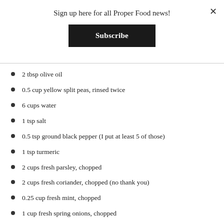Sign up here for all Proper Food news!
Subscribe
2 tbsp olive oil
0.5 cup yellow split peas, rinsed twice
6 cups water
1 tsp salt
0.5 tsp ground black pepper (I put at least 5 of those)
1 tsp turmeric
2 cups fresh parsley, chopped
2 cups fresh coriander, chopped (no thank you)
0.25 cup fresh mint, chopped
1 cup fresh spring onions, chopped
500g ground lamb